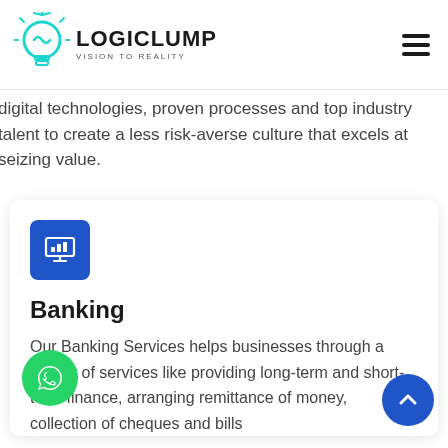[Figure (logo): LogicLump logo with lightbulb icon and text 'LOGICLUMP VISION TO REALITY']
digital technologies, proven processes and top industry talent to create a less risk-averse culture that excels at seizing value.
[Figure (illustration): Blue rounded square icon with a banking/monitor symbol]
Banking
Our Banking Services helps businesses through a variety of services like providing long-term and short-term finance, arranging remittance of money, collection of cheques and bills
[Figure (illustration): Green circular WhatsApp chat button]
[Figure (illustration): Blue circular scroll-up arrow button]